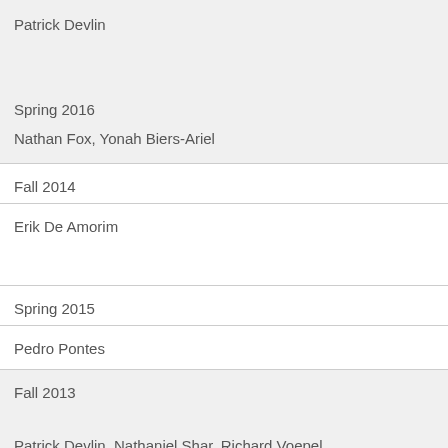Patrick Devlin
Spring 2016
Nathan Fox, Yonah Biers-Ariel
Fall 2014
Erik De Amorim
Spring 2015
Pedro Pontes
Fall 2013
Patrick Devlin, Nathaniel Shar, Richard Voepel
Spring 2014